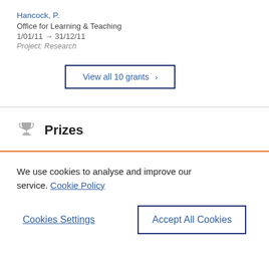Hancock, P.
Office for Learning & Teaching
1/01/11 → 31/12/11
Project: Research
View all 10 grants ›
Prizes
We use cookies to analyse and improve our service. Cookie Policy
Cookies Settings
Accept All Cookies